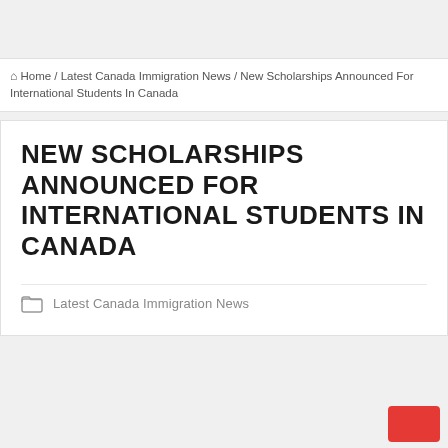🏠 Home / Latest Canada Immigration News / New Scholarships Announced For International Students In Canada
NEW SCHOLARSHIPS ANNOUNCED FOR INTERNATIONAL STUDENTS IN CANADA
Latest Canada Immigration News